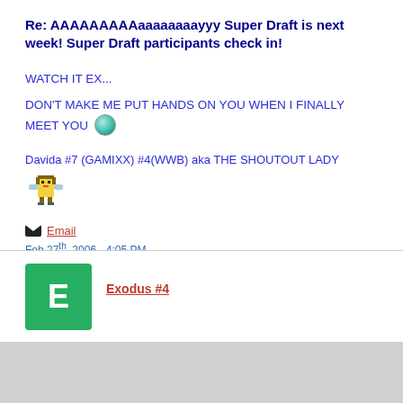Re: AAAAAAAAAaaaaaaaayyy Super Draft is next week! Super Draft participants check in!
WATCH IT EX...
DON'T MAKE ME PUT HANDS ON YOU WHEN I FINALLY MEET YOU 😊
Davida #7 (GAMIXX) #4(WWB) aka THE SHOUTOUT LADY
[Figure (illustration): Pixel art sprite of a character with armor and wings]
✉ Email
Feb 27th, 2006 - 4:05 PM
Quote  Reply
E  Exodus #4